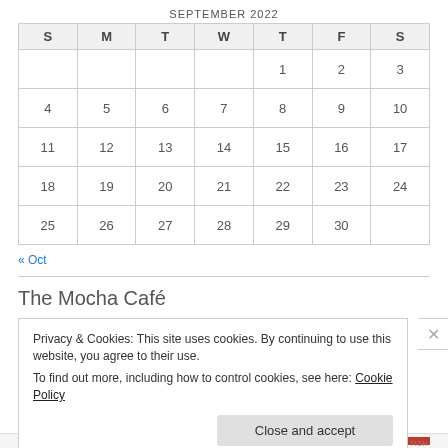SEPTEMBER 2022
| S | M | T | W | T | F | S |
| --- | --- | --- | --- | --- | --- | --- |
|  |  |  |  | 1 | 2 | 3 |
| 4 | 5 | 6 | 7 | 8 | 9 | 10 |
| 11 | 12 | 13 | 14 | 15 | 16 | 17 |
| 18 | 19 | 20 | 21 | 22 | 23 | 24 |
| 25 | 26 | 27 | 28 | 29 | 30 |  |
« Oct
The Mocha Café
Privacy & Cookies: This site uses cookies. By continuing to use this website, you agree to their use.
To find out more, including how to control cookies, see here: Cookie Policy
Close and accept